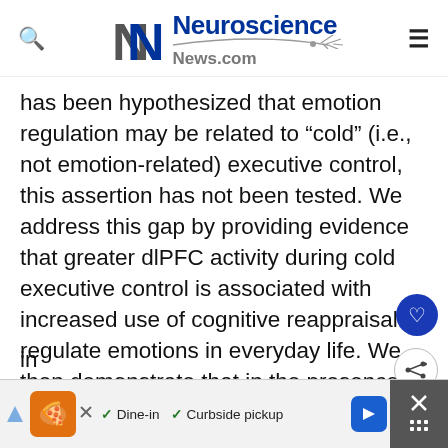Neuroscience News.com
has been hypothesized that emotion regulation may be related to “cold” (i.e., not emotion-related) executive control, this assertion has not been tested. We address this gap by providing evidence that greater dlPFC activity during cold executive control is associated with increased use of cognitive reappraisal to regulate emotions in everyday life. We then demonstrate that in the presence of increased
[Figure (infographic): Advertisement banner showing a restaurant ad with orange logo, checkmarks for Dine-in and Curbside pickup options, a blue navigation arrow icon, and a dark close button with grid icon]